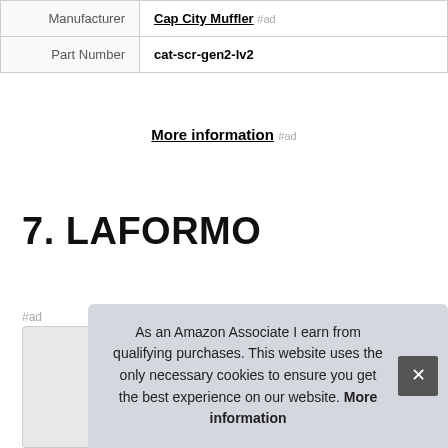| Manufacturer | Cap City Muffler #ad |
| Part Number | cat-scr-gen2-lv2 |
More information #ad
7. LAFORMO
#ad
As an Amazon Associate I earn from qualifying purchases. This website uses the only necessary cookies to ensure you get the best experience on our website. More information